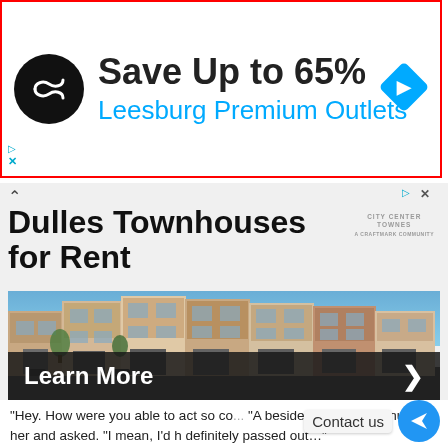[Figure (infographic): Ad banner: black circular logo with infinity/chain symbol, 'Save Up to 65%' in bold dark text, 'Leesburg Premium Outlets' in blue text, blue diamond navigation icon on right, red border around entire ad unit]
[Figure (infographic): Ad banner: 'Dulles Townhouses for Rent' in bold black text, City Center Townes logo top right, photo of modern townhouse row with brick and panel facades, blue sky, 'Learn More >' in white on dark bar at bottom]
"Hey. How were you able to act so co... "A beside her suddenly nudged her and asked. "I mean, I'd h definitely passed out..."